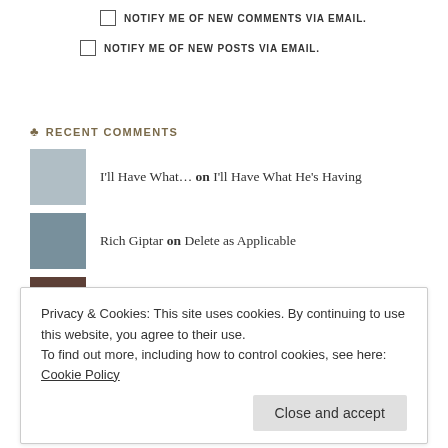NOTIFY ME OF NEW COMMENTS VIA EMAIL.
NOTIFY ME OF NEW POSTS VIA EMAIL.
♣ RECENT COMMENTS
I'll Have What… on I'll Have What He's Having
Rich Giptar on Delete as Applicable
Paul Beckman on Milestones
♣ CONTRIBUTORS
Privacy & Cookies: This site uses cookies. By continuing to use this website, you agree to their use. To find out more, including how to control cookies, see here: Cookie Policy
Close and accept